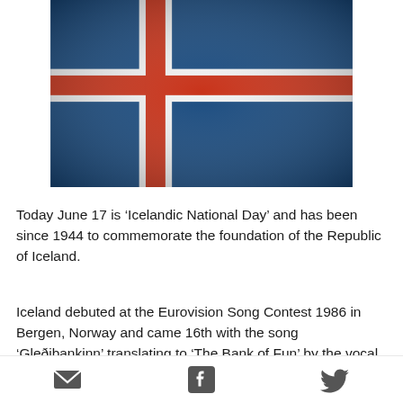[Figure (photo): Iceland national flag — blue background with a white-bordered red Nordic cross]
Today June 17 is ‘Icelandic National Day’ and has been since 1944 to commemorate the foundation of the Republic of Iceland.
Iceland debuted at the Eurovision Song Contest 1986 in Bergen, Norway and came 16th with the song ‘Gleðibankinn’ translating to ‘The Bank of Fun’ by the vocal trio ICY. Yes that’s right ICY from Iceland.
Email, Facebook, Twitter share icons